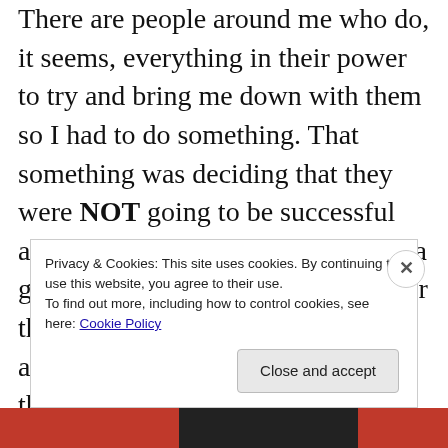There are people around me who do, it seems, everything in their power to try and bring me down with them so I had to do something. That something was deciding that they were NOT going to be successful and that every day was going to be a good day. That led me to looking for the good in every day and to being aware of trying to see the good in the people who cross my path. It's been a tough road but a wonderful learning experience. Not that I won't have 'bad' days but I really appreciate being more aware. I
Privacy & Cookies: This site uses cookies. By continuing to use this website, you agree to their use.
To find out more, including how to control cookies, see here: Cookie Policy